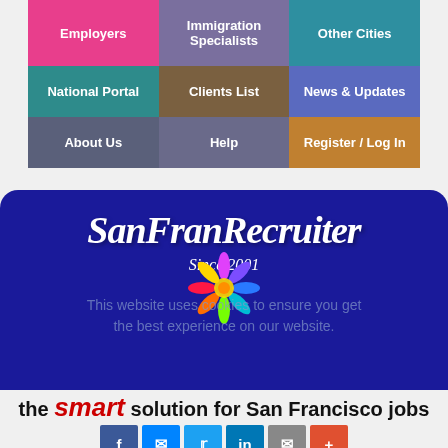Employers | Immigration Specialists | Other Cities | National Portal | Clients List | News & Updates | About Us | Help | Register / Log In
SanFranRecruiter
Since 2001
[Figure (logo): Decorative flower/star logo with multicolored petals]
This website uses cookies to ensure you get the best experience on our website.
the smart solution for San Francisco jobs